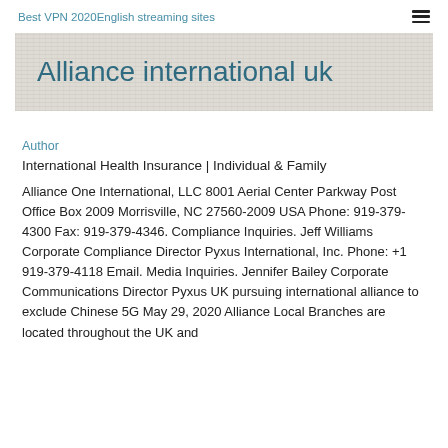Best VPN 2020English streaming sites
Alliance international uk
Author
International Health Insurance | Individual & Family
Alliance One International, LLC 8001 Aerial Center Parkway Post Office Box 2009 Morrisville, NC 27560-2009 USA Phone: 919-379-4300 Fax: 919-379-4346. Compliance Inquiries. Jeff Williams Corporate Compliance Director Pyxus International, Inc. Phone: +1 919-379-4118 Email. Media Inquiries. Jennifer Bailey Corporate Communications Director Pyxus UK pursuing international alliance to exclude Chinese 5G May 29, 2020 Alliance Local Branches are located throughout the UK and